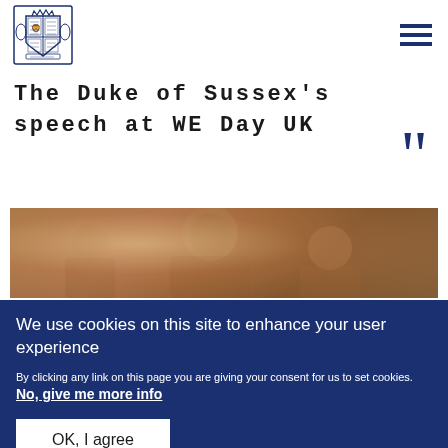[Figure (logo): Royal coat of arms logo in dark blue/navy]
The Duke of Sussex's speech at WE Day UK
[Figure (photo): Photo of a person at an event, warm toned]
We use cookies on this site to enhance your user experience
By clicking any link on this page you are giving your consent for us to set cookies. No, give me more info
OK, I agree